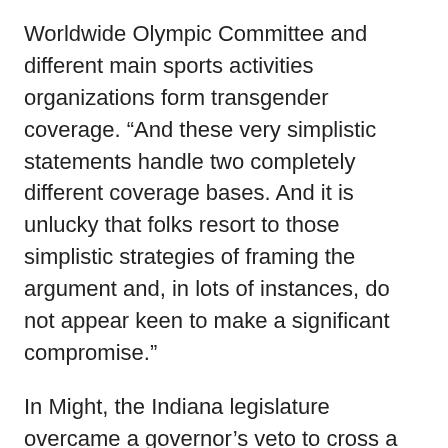Worldwide Olympic Committee and different main sports activities organizations form transgender coverage. “And these very simplistic statements handle two completely different coverage bases. And it is unlucky that folks resort to those simplistic strategies of framing the argument and, in lots of instances, do not appear keen to make a significant compromise.”
In Might, the Indiana legislature overcame a governor’s veto to cross a legislation banning transgender girls from collaborating in ladies’ highschool athletics, overturning the governor’s argument that there was within the Okay-12 Sport doesn’t have an issue that requires “state authorities intervention”.
The ACLU nearly instantly filed a lawsuit difficult the legislation. On the different finish of the spectrum, 4 Connecticut highschool cisgender athletes problem